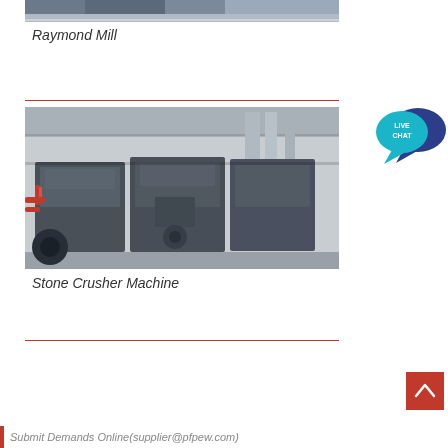[Figure (photo): Top portion of a Raymond Mill machine photo (cropped, showing industrial machinery)]
Raymond Mill
[Figure (photo): Stone Crusher Machine industrial equipment in a factory warehouse, multiple large grey crushers lined up]
Stone Crusher Machine
[Figure (other): Live Chat speech bubble icon in teal/dark navy colors with text LIVE CHAT]
[Figure (other): Back to top button, red square with upward arrow]
Submit Demands Online(supplier@pfpew.com)